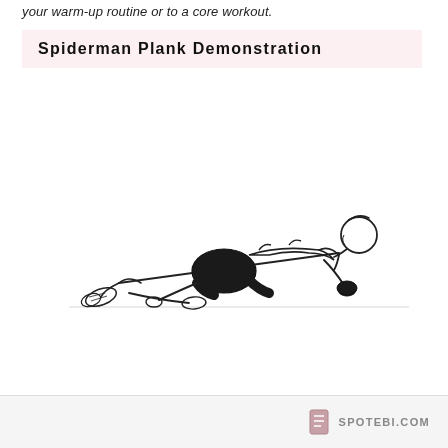your warm-up routine or to a core workout.
Spiderman Plank Demonstration
[Figure (illustration): Line drawing of a woman in a plank position performing a Spiderman Plank exercise. She is in athletic wear with dark shorts and sports top, in a low plank on forearms, with one leg raised and bent to the side in a spiderman crawl motion.]
SPOTEBI.COM